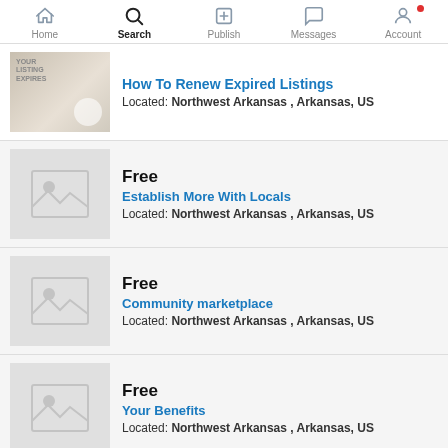Home | Search | Publish | Messages | Account
How To Renew Expired Listings | Located: Northwest Arkansas , Arkansas, US
Free | Establish More With Locals | Located: Northwest Arkansas , Arkansas, US
Free | Community marketplace | Located: Northwest Arkansas , Arkansas, US
Free | Your Benefits | Located: Northwest Arkansas , Arkansas, US